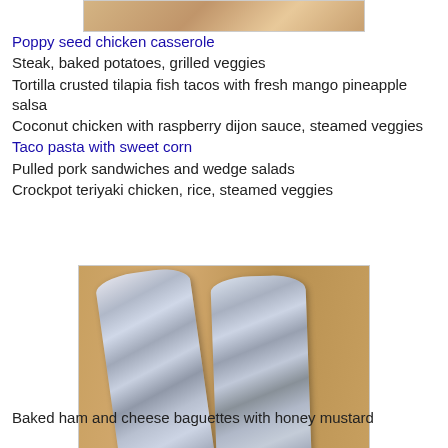[Figure (photo): Partial photo of food or meal at the top of the page]
Poppy seed chicken casserole
Steak, baked potatoes, grilled veggies
Tortilla crusted tilapia fish tacos with fresh mango pineapple salsa
Coconut chicken with raspberry dijon sauce, steamed veggies
Taco pasta with sweet corn
Pulled pork sandwiches and wedge salads
Crockpot teriyaki chicken, rice, steamed veggies
[Figure (photo): Two baguettes or sub sandwiches wrapped in aluminum foil on a wooden cutting board]
Baked ham and cheese baguettes with honey mustard